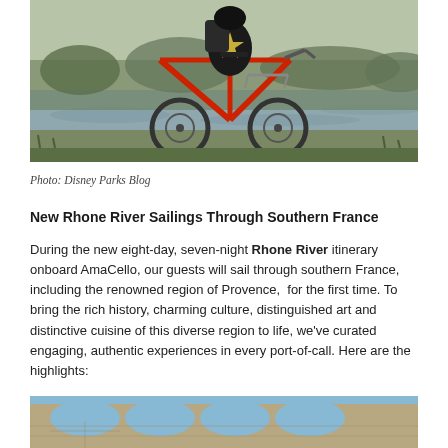[Figure (photo): Person with a bicycle near a river, wearing a black and yellow cycling jersey with a star design, standing next to a red bicycle with gear rack, water and trees visible in the background.]
Photo: Disney Parks Blog
New Rhone River Sailings Through Southern France
During the new eight-day, seven-night Rhone River itinerary onboard AmaCello, our guests will sail through southern France, including the renowned region of Provence, for the first time. To bring the rich history, charming culture, distinguished art and distinctive cuisine of this diverse region to life, we've curated engaging, authentic experiences in every port-of-call. Here are the highlights:
[Figure (photo): Stone arched aqueduct structure (appears to be the Pont du Gard or similar Roman aqueduct) photographed from below against a blue sky.]